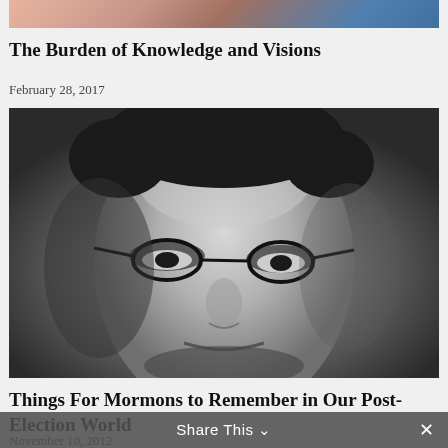[Figure (photo): Partial top edge of a colorful image — appears to show hands or figures with reddish and blue tones, cropped to a thin strip at the top of the page]
The Burden of Knowledge and Visions
February 28, 2017
[Figure (photo): Black and white close-up portrait photograph of an older man with thick-rimmed glasses, serious expression, looking slightly to the side]
Things For Mormons to Remember in Our Post-Election World
November 10, 2012
Share This ∨  ✕